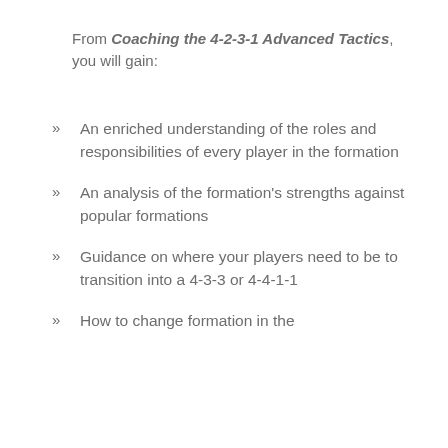From Coaching the 4-2-3-1 Advanced Tactics, you will gain:
An enriched understanding of the roles and responsibilities of every player in the formation
An analysis of the formation's strengths against popular formations
Guidance on where your players need to be to transition into a 4-3-3 or 4-4-1-1
How to change formation in the